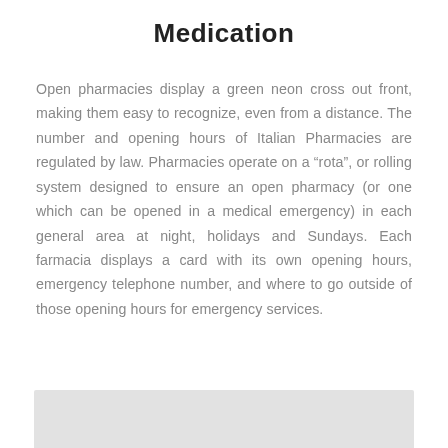Medication
Open pharmacies display a green neon cross out front, making them easy to recognize, even from a distance. The number and opening hours of Italian Pharmacies are regulated by law. Pharmacies operate on a “rota”, or rolling system designed to ensure an open pharmacy (or one which can be opened in a medical emergency) in each general area at night, holidays and Sundays. Each farmacia displays a card with its own opening hours, emergency telephone number, and where to go outside of those opening hours for emergency services.
[Figure (other): Gray rectangle at the bottom of the page, partially visible]